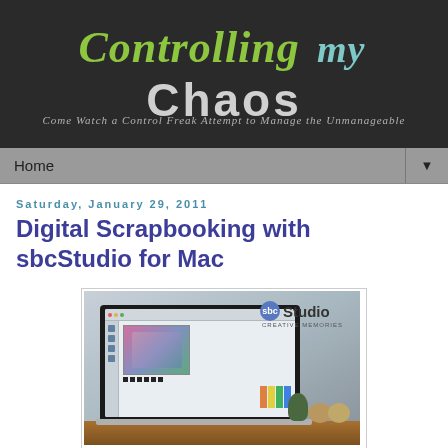[Figure (illustration): Blog banner with dark chalkboard background showing 'Controlling My Chaos' in stylized text with subtitle 'Come Watch a Control Freak Attempt to Manage the Unmanageable']
Home ▼
Saturday, January 29, 2011
Digital Scrapbooking with sbcStudio for Mac
[Figure (photo): Product image showing sbcStudio software by Creative Memories open on a MacBook laptop on a wooden desk, with the sbcStudio logo visible]